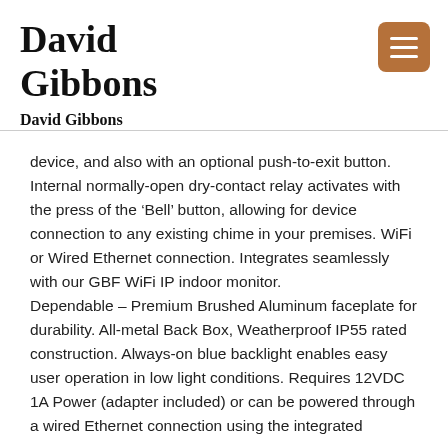David Gibbons
David Gibbons
device, and also with an optional push-to-exit button. Internal normally-open dry-contact relay activates with the press of the ‘Bell’ button, allowing for device connection to any existing chime in your premises. WiFi or Wired Ethernet connection. Integrates seamlessly with our GBF WiFi IP indoor monitor.
Dependable – Premium Brushed Aluminum faceplate for durability. All-metal Back Box, Weatherproof IP55 rated construction. Always-on blue backlight enables easy user operation in low light conditions. Requires 12VDC 1A Power (adapter included) or can be powered through a wired Ethernet connection using the integrated